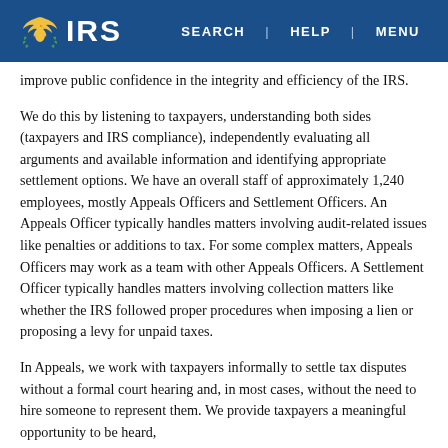IRS | SEARCH | HELP | MENU
improve public confidence in the integrity and efficiency of the IRS.
We do this by listening to taxpayers, understanding both sides (taxpayers and IRS compliance), independently evaluating all arguments and available information and identifying appropriate settlement options. We have an overall staff of approximately 1,240 employees, mostly Appeals Officers and Settlement Officers. An Appeals Officer typically handles matters involving audit-related issues like penalties or additions to tax. For some complex matters, Appeals Officers may work as a team with other Appeals Officers. A Settlement Officer typically handles matters involving collection matters like whether the IRS followed proper procedures when imposing a lien or proposing a levy for unpaid taxes.
In Appeals, we work with taxpayers informally to settle tax disputes without a formal court hearing and, in most cases, without the need to hire someone to represent them. We provide taxpayers a meaningful opportunity to be heard,